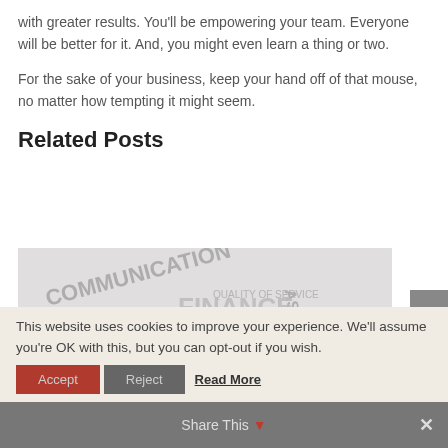with greater results. You'll be empowering your team. Everyone will be better for it. And, you might even learn a thing or two.
For the sake of your business, keep your hand off of that mouse, no matter how tempting it might seem.
Related Posts
[Figure (illustration): Word cloud / outsourcing themed image with words: COMMUNICATION, FINANCE, STRATEGY, ASSESSMENT, QUALITY OF SERVICE, SATISFACTION, FUNCTION, PROCESS, COST, TECHNOLOGY, SKILL, and large red text reading SOURCING]
This website uses cookies to improve your experience. We'll assume you're OK with this, but you can opt-out if you wish.
Accept   Reject   Read More
Share This